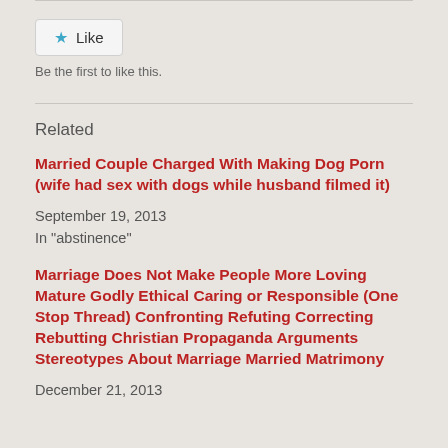[Figure (other): Like button widget with star icon]
Be the first to like this.
Related
Married Couple Charged With Making Dog Porn (wife had sex with dogs while husband filmed it)
September 19, 2013
In "abstinence"
Marriage Does Not Make People More Loving Mature Godly Ethical Caring or Responsible (One Stop Thread) Confronting Refuting Correcting Rebutting Christian Propaganda Arguments Stereotypes About Marriage Married Matrimony
December 21, 2013